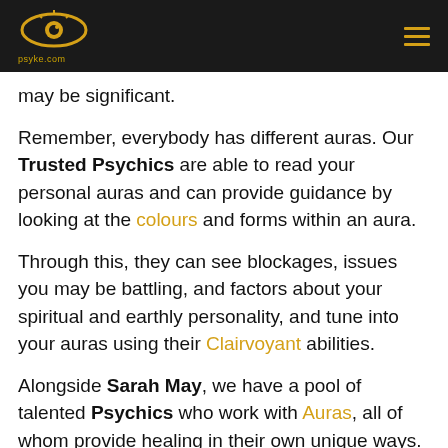psyke.com [logo] [menu]
may be significant.
Remember, everybody has different auras. Our Trusted Psychics are able to read your personal auras and can provide guidance by looking at the colours and forms within an aura.
Through this, they can see blockages, issues you may be battling, and factors about your spiritual and earthly personality, and tune into your auras using their Clairvoyant abilities.
Alongside Sarah May, we have a pool of talented Psychics who work with Auras, all of whom provide healing in their own unique ways. Select the psychic of your choice for an exclusive one-to-one Psychic Reading!